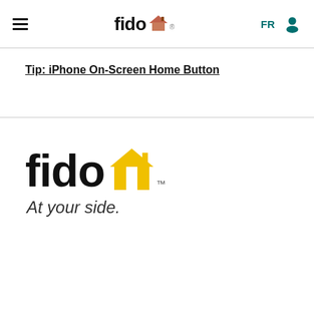fido [logo] FR [user icon]
Tip: iPhone On-Screen Home Button
[Figure (logo): Fido logo with house icon and tagline 'At your side.']